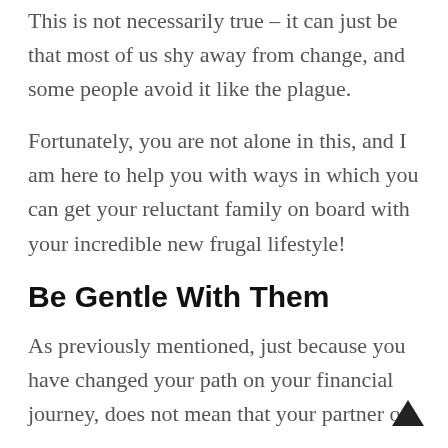This is not necessarily true – it can just be that most of us shy away from change, and some people avoid it like the plague.
Fortunately, you are not alone in this, and I am here to help you with ways in which you can get your reluctant family on board with your incredible new frugal lifestyle!
Be Gentle With Them
As previously mentioned, just because you have changed your path on your financial journey, does not mean that your partner or